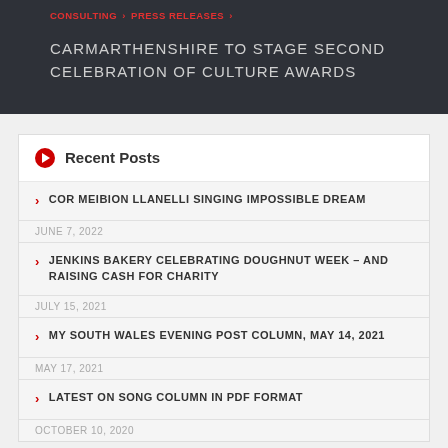CONSULTING › PRESS RELEASES ›
CARMARTHENSHIRE TO STAGE SECOND CELEBRATION OF CULTURE AWARDS
Recent Posts
COR MEIBION LLANELLI SINGING IMPOSSIBLE DREAM
JUNE 7, 2022
JENKINS BAKERY CELEBRATING DOUGHNUT WEEK – AND RAISING CASH FOR CHARITY
JULY 15, 2021
MY SOUTH WALES EVENING POST COLUMN, MAY 14, 2021
MAY 17, 2021
LATEST ON SONG COLUMN IN PDF FORMAT
OCTOBER 10, 2020